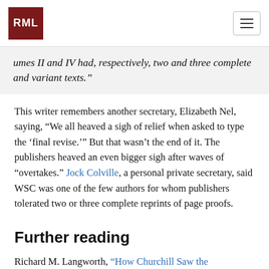RML
umes II and IV had, respectively, two and three complete and variant texts.”
This writer remembers another secretary, Elizabeth Nel, saying, “We all heaved a sigh of relief when asked to type the ‘final revise.’” But that wasn’t the end of it. The publishers heaved an even bigger sigh after waves of “overtakes.” Jock Colville, a personal private secretary, said WSC was one of the few authors for whom publishers tolerated two or three complete reprints of page proofs.
Further reading
Richard M. Langworth, “How Churchill Saw the